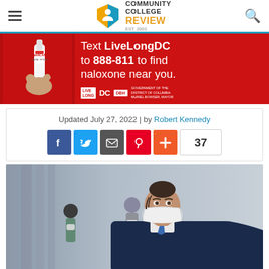Community College Review — EST. 2003
[Figure (photo): Advertisement banner: red background with hand holding Narcan nasal spray. Text: 'Text LiveLongDC to 888-811 to find naloxone near you.' Logos: LiveLong DC, DBH, Government of the District of Columbia, Muriel Bowser Mayor]
Updated July 27, 2022 | by Robert Kennedy
[Figure (infographic): Social share buttons: Facebook (blue), Twitter (light blue), Email (dark gray), Pinterest (red), Plus/Share (orange), and share count: 37]
[Figure (photo): A woman wearing a white face mask, dressed in a dark blazer with a blue tie, standing in a modern corridor. Two masked people visible in the background.]